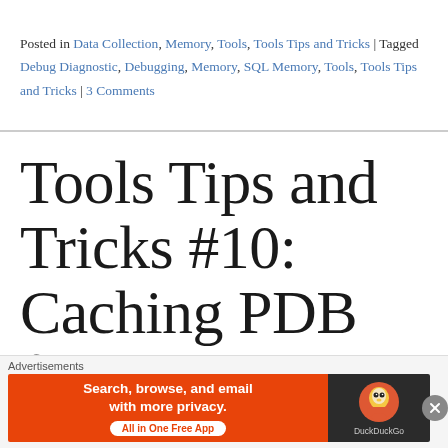Posted in Data Collection, Memory, Tools, Tools Tips and Tricks | Tagged Debug Diagnostic, Debugging, Memory, SQL Memory, Tools, Tools Tips and Tricks | 3 Comments
Tools Tips and Tricks #10: Caching PDB files LOCALLY
[Figure (other): Advertisement banner: DuckDuckGo ad reading 'Search, browse, and email with more privacy. All in One Free App' with DuckDuckGo logo and duck icon on dark right panel.]